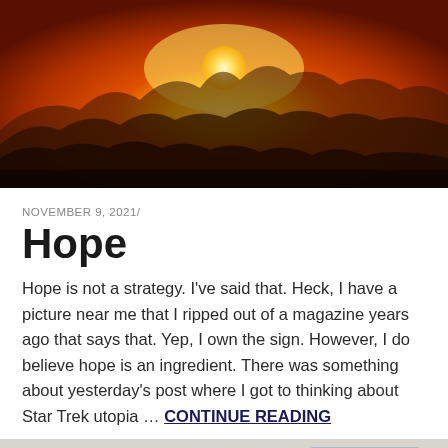[Figure (photo): Sunset over mountain silhouettes with bright orange and yellow sky, sun visible near horizon]
NOVEMBER 9, 2021/
Hope
Hope is not a strategy. I've said that. Heck, I have a picture near me that I ripped out of a magazine years ago that says that. Yep, I own the sign. However, I do believe hope is an ingredient. There was something about yesterday's post where I got to thinking about Star Trek utopia … CONTINUE READING
[Figure (photo): Partial view of a person sitting in front of a laptop or monitor, viewed from behind, light background]